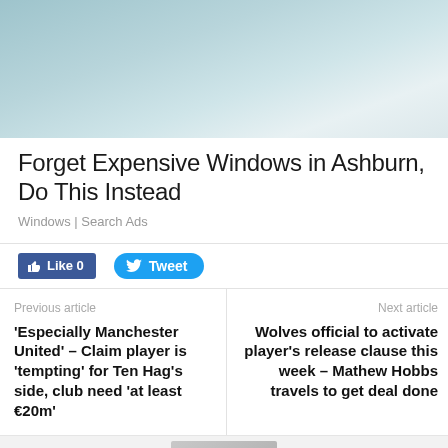[Figure (photo): Advertisement image showing a person in light blue/grey clothing, cropped view of upper body]
Forget Expensive Windows in Ashburn, Do This Instead
Windows | Search Ads
[Figure (other): Social sharing buttons: Like 0 (Facebook) and Tweet (Twitter)]
Previous article
'Especially Manchester United' – Claim player is 'tempting' for Ten Hag's side, club need 'at least €20m'
Next article
Wolves official to activate player's release clause this week – Mathew Hobbs travels to get deal done
[Figure (photo): Partial image visible at bottom of page, appears to be a person]